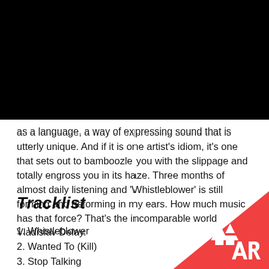[Figure (other): Black header image block at the top of the page]
as a language, a way of expressing sound that is utterly unique. And if it is one artist's idiom, it's one that sets out to bamboozle you with the slippage and totally engross you in its haze. Three months of almost daily listening and 'Whistleblower' is still forming and deforming in my ears. How much music has that force? That's the incomparable world Vladislav Delay.
Tracklist
1. Whistleblower
2. Wanted To (Kill)
3. Stop Talking
[Figure (logo): Red triangle with Resident Advisor (RA) logo in the bottom right corner]